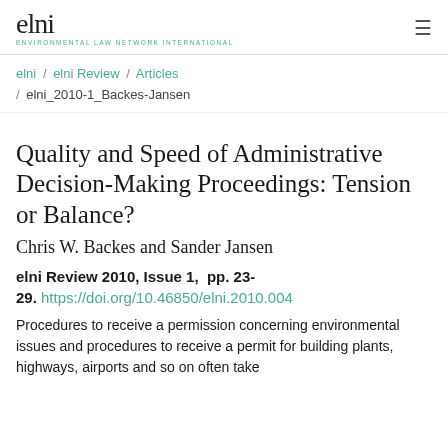elni — Environmental Law Network International
elni / elni Review / Articles / elni_2010-1_Backes-Jansen
Quality and Speed of Administrative Decision-Making Proceedings: Tension or Balance?
Chris W. Backes and Sander Jansen
elni Review 2010, Issue 1,  pp. 23-29. https://doi.org/10.46850/elni.2010.004
Procedures to receive a permission concerning environmental issues and procedures to receive a permit for building plants, highways, airports and so on often take